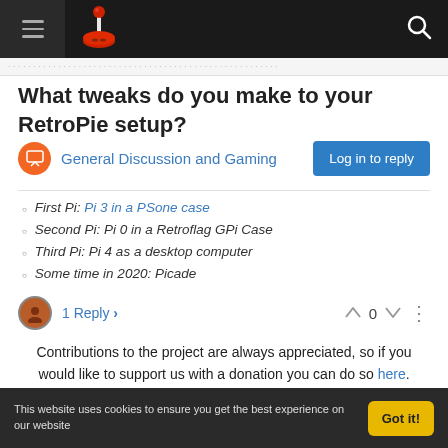RetroPie forum navigation bar with hamburger menu, logo, and search icon
What tweaks do you make to your RetroPie setup?
General Discussion and Gaming | Log in to reply
First Pi: Pi 3 in a PSone case
Second Pi: Pi 0 in a Retroflag GPi Case
Third Pi: Pi 4 as a desktop computer
Some time in 2020: Picade
1 Reply  0
Contributions to the project are always appreciated, so if you would like to support us with a donation you can do so here.
Hosting provided by Mythic-Beasts. See the Hosting Information page for more information.
This website uses cookies to ensure you get the best experience on our website  Got it!